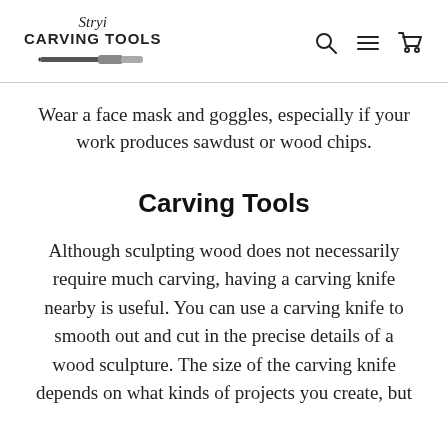Stryi CARVING TOOLS
Wear a face mask and goggles, especially if your work produces sawdust or wood chips.
Carving Tools
Although sculpting wood does not necessarily require much carving, having a carving knife nearby is useful. You can use a carving knife to smooth out and cut in the precise details of a wood sculpture. The size of the carving knife depends on what kinds of projects you create, but